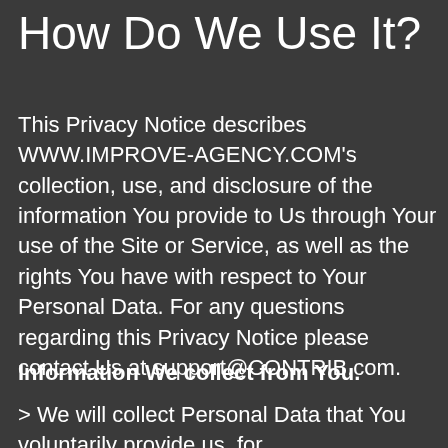How Do We Use It?
This Privacy Notice describes WWW.IMPROVE-AGENCY.COM's collection, use, and disclosure of the information You provide to Us through Your use of the Site or Service, as well as the rights You have with respect to Your Personal Data. For any questions regarding this Privacy Notice please contact Us at support@CONTRIB.com.
Information We collect from You.
> We will collect Personal Data that You voluntarily provide us, for